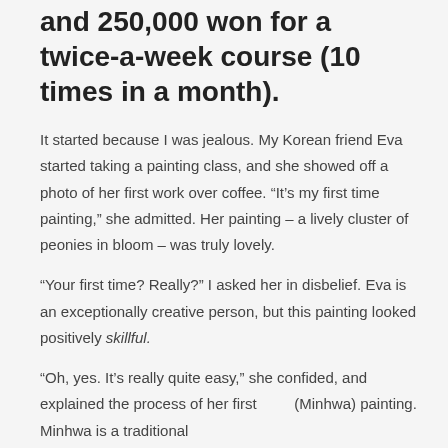and 250,000 won for a twice-a-week course (10 times in a month).
It started because I was jealous. My Korean friend Eva started taking a painting class, and she showed off a photo of her first work over coffee. “It’s my first time painting,” she admitted. Her painting – a lively cluster of peonies in bloom – was truly lovely.
“Your first time? Really?” I asked her in disbelief. Eva is an exceptionally creative person, but this painting looked positively skillful.
“Oh, yes. It’s really quite easy,” she confided, and explained the process of her first (Minhwa) painting. Minhwa is a traditional…